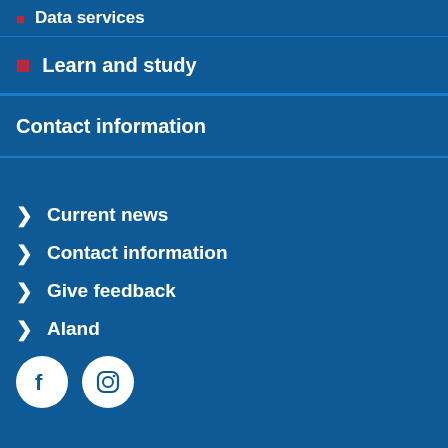Data services
Learn and study
Contact information
Current news
Contact information
Give feedback
Aland
[Figure (illustration): Facebook and Instagram social media icon circles in white on blue background]